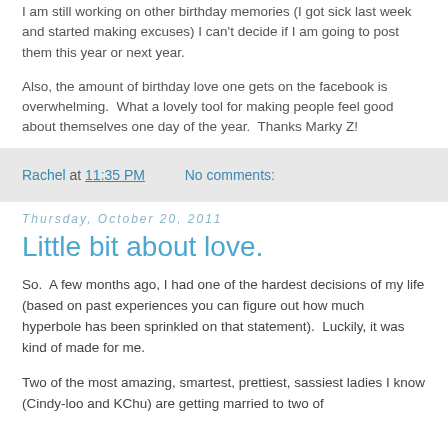I am still working on other birthday memories (I got sick last week and started making excuses) I can't decide if I am going to post them this year or next year.
Also, the amount of birthday love one gets on the facebook is overwhelming.  What a lovely tool for making people feel good about themselves one day of the year.  Thanks Marky Z!
Rachel at 11:35 PM    No comments:
Thursday, October 20, 2011
Little bit about love.
So.  A few months ago, I had one of the hardest decisions of my life (based on past experiences you can figure out how much hyperbole has been sprinkled on that statement).  Luckily, it was kind of made for me.
Two of the most amazing, smartest, prettiest, sassiest ladies I know (Cindy-loo and KChu) are getting married to two of